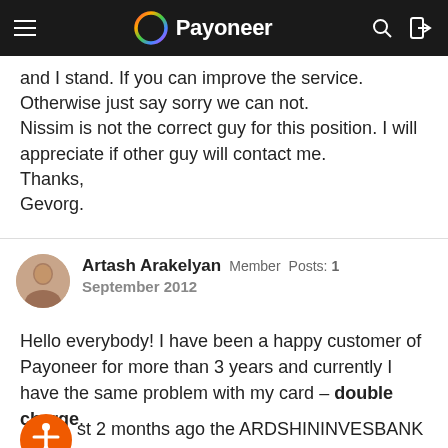Payoneer navigation bar
and I stand. If you can improve the service. Otherwise just say sorry we can not.
Nissim is not the correct guy for this position. I will appreciate if other guy will contact me.
Thanks,
Gevorg.
Artash Arakelyan  Member  Posts: 1
September 2012
Hello everybody! I have been a happy customer of Payoneer for more than 3 years and currently I have the same problem with my card – double charge.
Just 2 months ago the ARDSHININVESBANK terminal charged me double with amount of